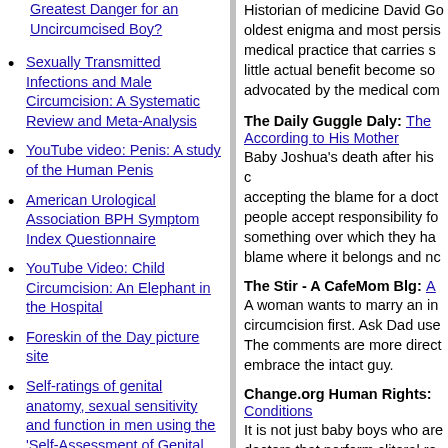Greatest Danger for an Uncircumcised Boy?
Sexually Transmitted Infections and Male Circumcision: A Systematic Review and Meta-Analysis
YouTube video: Penis: A study of the Human Penis
American Urological Association BPH Symptom Index Questionnaire
YouTube Video: Child Circumcision: An Elephant in the Hospital
Foreskin of the Day picture site
Self-ratings of genital anatomy, sexual sensitivity and function in men using the 'Self-Assessment of Genital Anatomy and Sexual Function, Male' questionnaire
Not a surgical vaccine: there is no case for boosting infant
Historian of medicine David Go... oldest enigma and most persis... medical practice that carries s... little actual benefit become so... advocated by the medical com...
The Daily Guggle Daly:
The ... According to His Mother
Baby Joshua's death after his c... accepting the blame for a doct... people accept responsibility fo... something over which they ha... blame where it belongs and nc...
The Stir - A CafeMom Blg:
A woman wants to marry an in... circumcision first. Ask Dad use... The comments are more direct... embrace the intact guy.
Change.org Human Rights:
Conditions
It is not just baby boys who are... doctors that perform clitoral re... a pediatric urologist at Cornell... performed "clitoris sensitivity"... Advocates for Informed Choic...